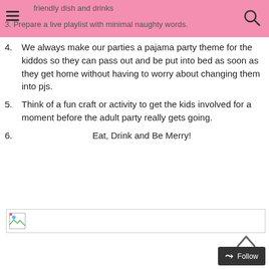friendly dish and drinks
3. Prepare a live playlist with minimal naughty words.
4. We always make our parties a pajama party theme for the kiddos so they can pass out and be put into bed as soon as they get home without having to worry about changing them into pjs.
5. Think of a fun craft or activity to get the kids involved for a moment before the adult party really gets going.
6. Eat, Drink and Be Merry!
[Figure (photo): Broken image placeholder with small image icon]